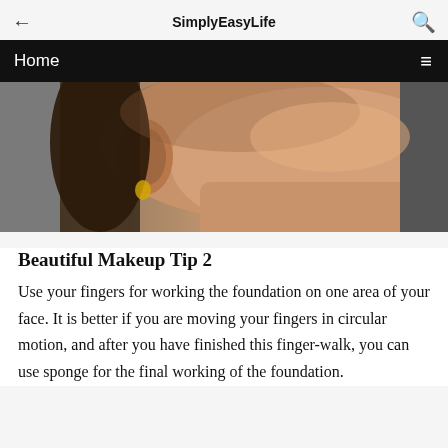SimplyEasyLife
[Figure (screenshot): Website navigation bar with black background showing 'Home' text and hamburger menu icon]
[Figure (photo): Close-up photo of a woman's face/neck area, side profile, showing skin tone with warm lighting]
Beautiful Makeup Tip 2
Use your fingers for working the foundation on one area of your face. It is better if you are moving your fingers in circular motion, and after you have finished this finger-walk, you can use sponge for the final working of the foundation.